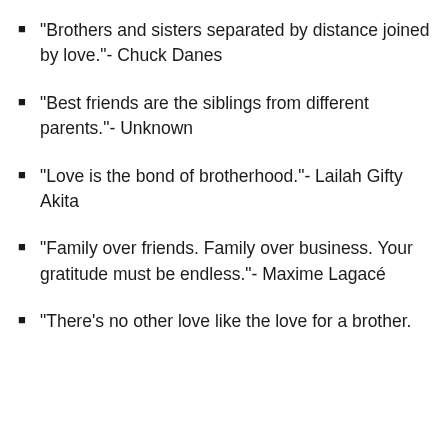“Brothers and sisters separated by distance joined by love.”- Chuck Danes
“Best friends are the siblings from different parents.”- Unknown
“Love is the bond of brotherhood.”- Lailah Gifty Akita
“Family over friends. Family over business. Your gratitude must be endless.”- Maxime Lagacé
“There’s no other love like the love for a brother.